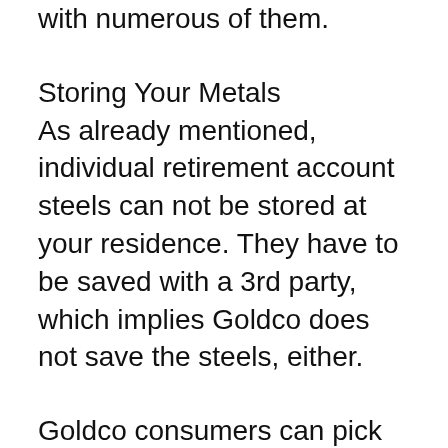with numerous of them.
Storing Your Metals
As already mentioned, individual retirement account steels can not be stored at your residence. They have to be saved with a 3rd party, which implies Goldco does not save the steels, either.
Goldco consumers can pick from numerous storage space business. The one Goldco advises is Delaware Vault. It has a prepared facility with Course 3 vaults, insurance from Lloyd's of London underwriters, and digital security.
Two even more options are Brinks in Salt Lake City as well as IDS in Dallas, Texas. The